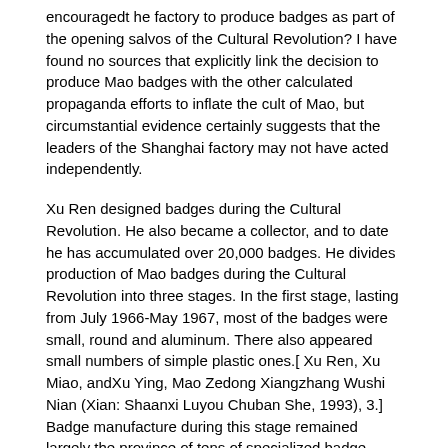encouragedt he factory to produce badges as part of the opening salvos of the Cultural Revolution? I have found no sources that explicitly link the decision to produce Mao badges with the other calculated propaganda efforts to inflate the cult of Mao, but circumstantial evidence certainly suggests that the leaders of the Shanghai factory may not have acted independently.
Xu Ren designed badges during the Cultural Revolution. He also became a collector, and to date he has accumulated over 20,000 badges. He divides production of Mao badges during the Cultural Revolution into three stages. In the first stage, lasting from July 1966-May 1967, most of the badges were small, round and aluminum. There also appeared small numbers of simple plastic ones.[ Xu Ren, Xu Miao, andXu Ying, Mao Zedong Xiangzhang Wushi Nian (Xian: Shaanxi Luyou Chuban She, 1993), 3.] Badge manufacture during this stage remained largely the province of tens of specialized badge factories throughout China.
When the “exchange revolutionary experiences” (chuanlian) movement began and Mao met with Red Guards eight times between August and November 1966, young Chinese carried badges from city to city. When Mao inspected the Red Guards for the first time on August 18, 1966, Red Guard representatives presented him with several different styles